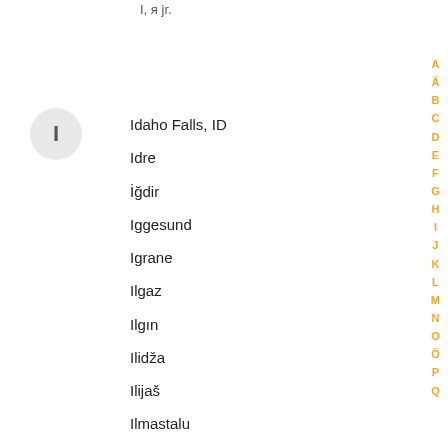I, я jr.
I
Idaho Falls, ID
Idre
İğdir
Iggesund
Igrane
Ilgaz
Ilgın
Ilidža
Ilijaš
Ilmastalu
Ilminster
Ilok